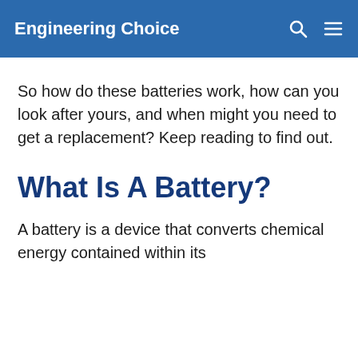Engineering Choice
So how do these batteries work, how can you look after yours, and when might you need to get a replacement? Keep reading to find out.
What Is A Battery?
A battery is a device that converts chemical energy contained within its